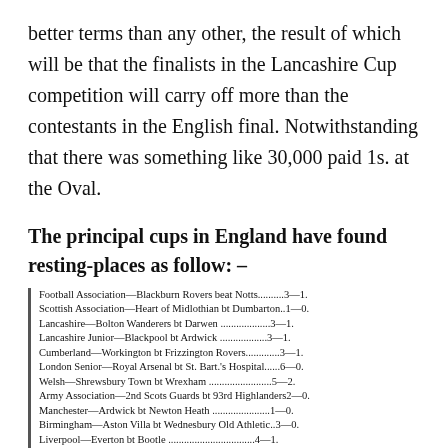better terms than any other, the result of which will be that the finalists in the Lancashire Cup competition will carry off more than the contestants in the English final. Notwithstanding that there was something like 30,000 paid 1s. at the Oval.
The principal cups in England have found resting-places as follow: –
| Football Association—Blackburn Rovers beat Notts..........3—1. |
| Scottish Association—Heart of Midlothian bt Dumbarton..1—0. |
| Lancashire—Bolton Wanderers bt Darwen ...................3—1. |
| Lancashire Junior—Blackpool bt Ardwick ..................3—1. |
| Cumberland—Workington bt Frizzington Rovers.............3—1. |
| London Senior—Royal Arsenal bt St. Bart.'s Hospital......6—0. |
| Welsh—Shrewsbury Town bt Wrexham ........................5—2. |
| Army Association—2nd Scots Guards bt 93rd Highlanders2—0. |
| Manchester—Ardwick bt Newton Heath ......................1—0. |
| Birmingham—Aston Villa bt Wednesbury Old Athletic..3—0. |
| Liverpool—Everton bt Bootle .................................4—1. |
| Staffordshire—Aston Villa bt Stoke .........................4—1. |
| Derbyshire—Long Eaton Rangers bt Derby Midland .......2—1. |
| Cleveland—Middlesbrough Ironopolis bt Middlesbrough..1—0. |
| Notts—Notts Forest bt Ruddington .........................2—1. |
| Cleveland Professional—Stockton bt Darlington ...........1—0. |